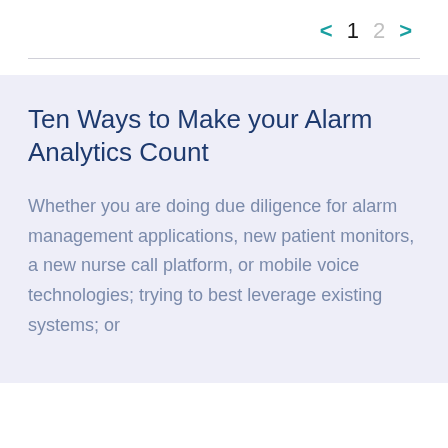< 1 2 >
Ten Ways to Make your Alarm Analytics Count
Whether you are doing due diligence for alarm management applications, new patient monitors, a new nurse call platform, or mobile voice technologies; trying to best leverage existing systems; or